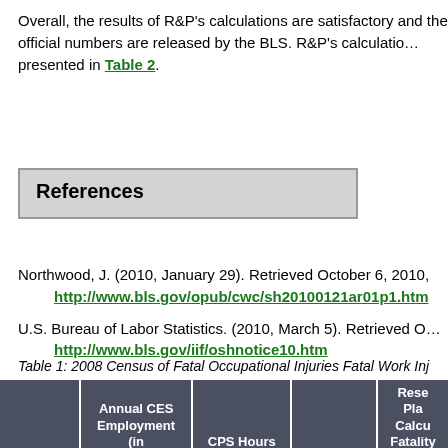Overall, the results of R&P's calculations are satisfactory and the official numbers are released by the BLS. R&P's calculations are presented in Table 2.
References
Northwood, J. (2010, January 29). Retrieved October 6, 2010, http://www.bls.gov/opub/cwc/sh20100121ar01p1.htm
U.S. Bureau of Labor Statistics. (2010, March 5). Retrieved October http://www.bls.gov/iif/oshnotice10.htm
Table 1: 2008 Census of Fatal Occupational Injuries Fatal Work Inj...
| State | Annual CES Employment (in Thousands) | CPS Hours Worked | Fatalities | Rese Pla Calcu Fatality Rate |
| --- | --- | --- | --- | --- |
| Wyoming | 298.2 | 601.6 | 33 | 1 |